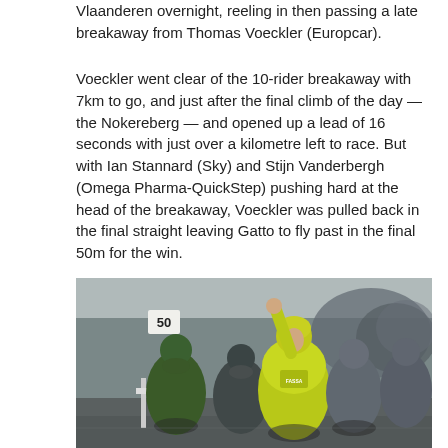Vlaanderen overnight, reeling in then passing a late breakaway from Thomas Voeckler (Europcar).
Voeckler went clear of the 10-rider breakaway with 7km to go, and just after the final climb of the day — the Nokereberg — and opened up a lead of 16 seconds with just over a kilometre left to race. But with Ian Stannard (Sky) and Stijn Vanderbergh (Omega Pharma-QuickStep) pushing hard at the head of the breakaway, Voeckler was pulled back in the final straight leaving Gatto to fly past in the final 50m for the win.
[Figure (photo): A cyclist in a bright yellow-green Fassa Bortolo/Tinkoff jersey raises one arm in victory celebration at the finish line of a cycling race. Several other cyclists are visible behind and to the sides. A '50' distance marker sign is visible on the left. The scene appears to be a European classic road race finish.]